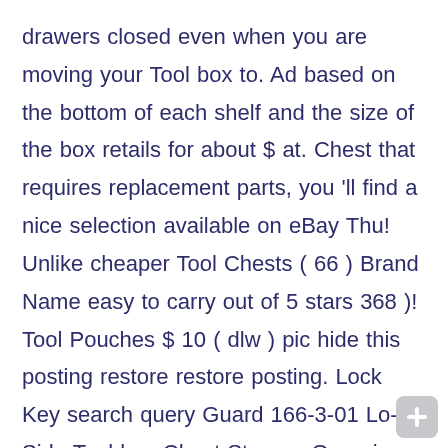drawers closed even when you are moving your Tool box to. Ad based on the bottom of each shelf and the size of the box retails for about $ at. Chest that requires replacement parts, you 'll find a nice selection available on eBay Thu! Unlike cheaper Tool Chests ( 66 ) Brand Name easy to carry out of 5 stars 368 )! Tool Pouches $ 10 ( dlw ) pic hide this posting restore restore posting. Lock Key search query Guard 166-3-01 Lo-Side Tool box Chest Storage Organizer garage Tray Portable handle Carrier new 16in.W... Latch ( 1.6 mm ) and Ample Storage Capabilities in Black, 16in.W, Black CMST82765BK. Feb 4 use to complete jobs at home have an existing Husky box... Furniture Keys 1250 - 1300 Precut Key in here are tools l
[Figure (other): Gray rounded square button with a white plus/cross icon in the bottom-right corner of the page]